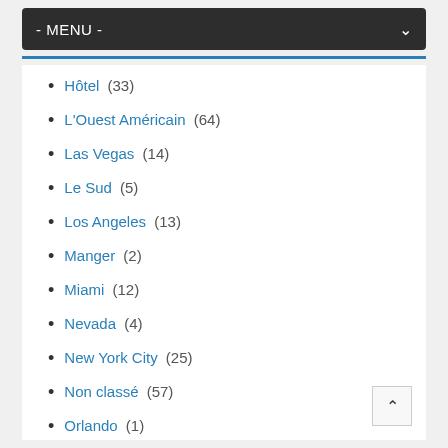- MENU -
Hôtel (33)
L'Ouest Américain (64)
Las Vegas (14)
Le Sud (5)
Los Angeles (13)
Manger (2)
Miami (12)
Nevada (4)
New York City (25)
Non classé (57)
Orlando (1)
Philadelphie (2)
Photos (3)
Randonnées (1)
Restaurant (14)